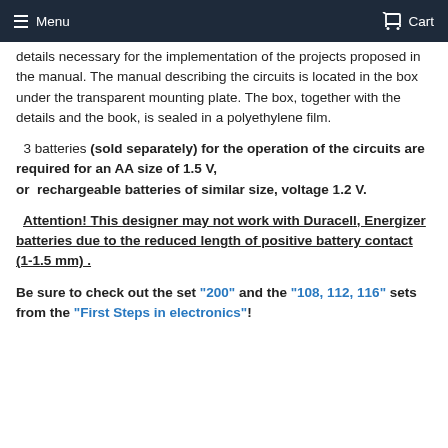Menu  Cart
details necessary for the implementation of the projects proposed in the manual. The manual describing the circuits is located in the box under the transparent mounting plate. The box, together with the details and the book, is sealed in a polyethylene film.
3 batteries (sold separately) for the operation of the circuits are required for an AA size of 1.5 V, or  rechargeable batteries of similar size, voltage 1.2 V.
Attention! This designer may not work with Duracell, Energizer batteries due to the reduced length of positive battery contact (1-1.5 mm) .
Be sure to check out the set "200" and the "108, 112, 116" sets from the "First Steps in electronics"!